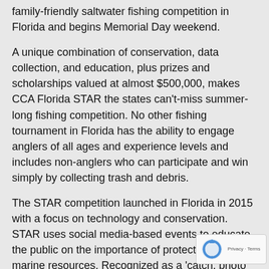family-friendly saltwater fishing competition in Florida and begins Memorial Day weekend.
A unique combination of conservation, data collection, and education, plus prizes and scholarships valued at almost $500,000, makes CCA Florida STAR the states can't-miss summer-long fishing competition. No other fishing tournament in Florida has the ability to engage anglers of all ages and experience levels and includes non-anglers who can participate and win simply by collecting trash and debris.
The STAR competition launched in Florida in 2015 with a focus on technology and conservation. STAR uses social media-based events to educate the public on the importance of protecting Florida's marine resources. Recognized as a 'catch, photo and release' competition, STAR's smartphone app eliminates the requirement for anglers to harvest or capture and transport fish and constantly promotes the proper handling of all